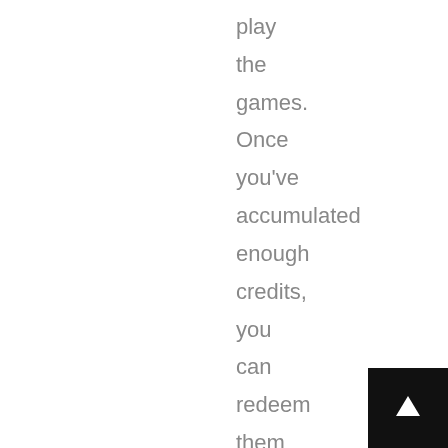play the games. Once you've accumulated enough credits, you can redeem them for real money. There are